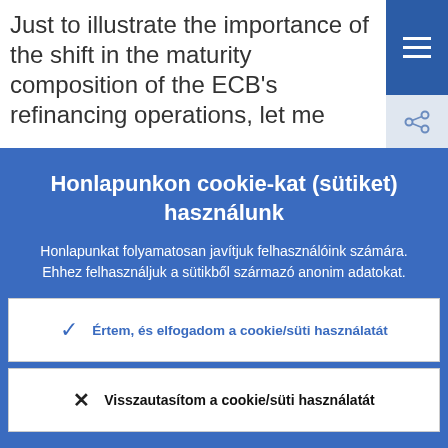Just to illustrate the importance of the shift in the maturity composition of the ECB's refinancing operations, let me
Honlapunkon cookie-kat (sütiket) használunk
Honlapunkat folyamatosan javítjuk felhasználóink számára. Ehhez felhasználjuk a sütikből származó anonim adatokat.
Ismerje meg, hogyan alkalmazzuk a cookie-t/sütit!
Értem, és elfogadom a cookie/süti használatát
Visszautasítom a cookie/süti használatát